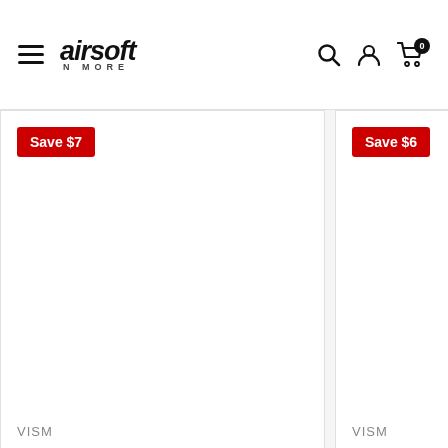airsoft N MORE — navigation header with hamburger menu, logo, search, account, and cart icons
Save $7
VISM
Save $6
VISM